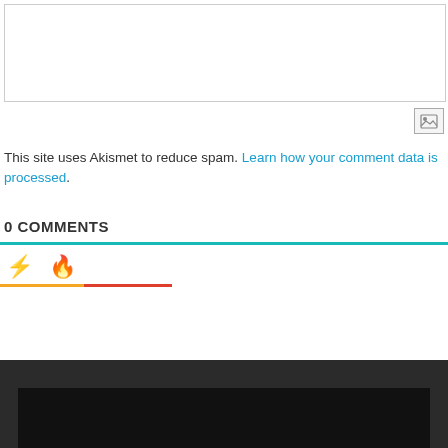[Figure (screenshot): White text input/textarea box with light gray border]
[Figure (other): Small image icon button with gray border]
This site uses Akismet to reduce spam. Learn how your comment data is processed.
0 COMMENTS
[Figure (other): Tab bar with lightning bolt and flame emoji icons, teal top border, orange and red underline tabs]
[Figure (other): Dark footer bar with black inner panel]